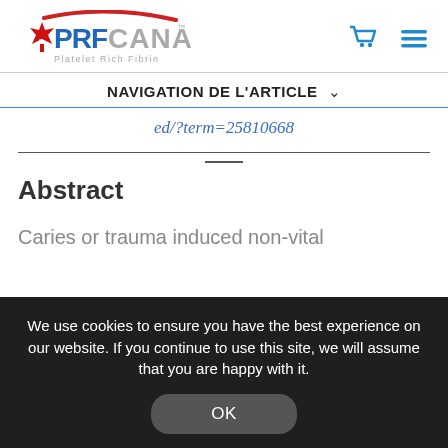[Figure (logo): PRF Canada - Platelet Rich Fibrin logo with maple leaf, red arc, and blue/grey text]
NAVIGATION DE L'ARTICLE ∨
ed/?term=25810668
Abstract
Caries or trauma induced non-vital
We use cookies to ensure you have the best experience on our website. If you continue to use this site, we will assume that you are happy with it.